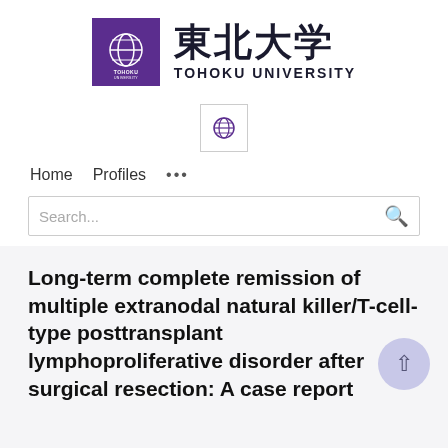[Figure (logo): Tohoku University logo: purple square with white circular emblem and TOHOKU UNIVERSITY text, followed by Japanese kanji 東北大学 and TOHOKU UNIVERSITY in Latin script]
[Figure (logo): Small globe/international icon in a bordered box]
Home   Profiles   ...
Search...
Long-term complete remission of multiple extranodal natural killer/T-cell-type posttransplant lymphoproliferative disorder after surgical resection: A case report